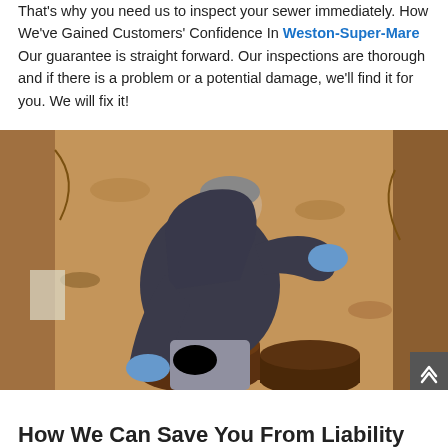That's why you need us to inspect your sewer immediately. How We've Gained Customers' Confidence In Weston-Super-Mare Our guarantee is straight forward. Our inspections are thorough and if there is a problem or a potential damage, we'll find it for you. We will fix it!
[Figure (photo): A worker in a dark hoodie and blue gloves crouching in a dug trench, inspecting or repairing underground sewer pipes surrounded by dirt.]
How We Can Save You From Liability